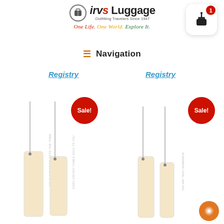[Figure (logo): Irv's Luggage logo with suitcase icon, brand name in italic, tagline 'Outfitting Travelers Since 1947', and cursive slogan 'One Life. One World. Explore It.' in multiple colors]
[Figure (other): Shopping cart icon button with badge showing count of 1]
≡  Navigation
Registry   Registry
[Figure (photo): Two needle-shaped luggage tags labeled KARMA with beige rectangular handles, with a red Sale! badge]
[Figure (photo): Two needle-shaped luggage tags labeled WONDERFUL with beige rectangular handles, with a red Sale! badge]
[Figure (other): Orange chat/message bubble button in bottom right corner]